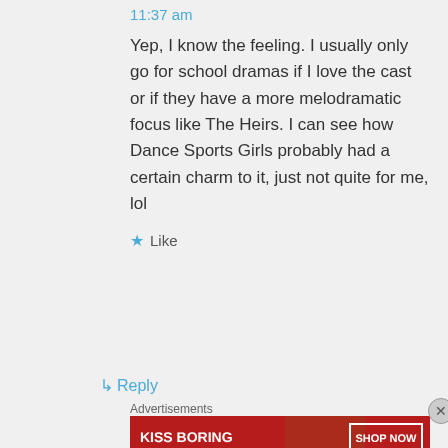11:37 am
Yep, I know the feeling. I usually only go for school dramas if I love the cast or if they have a more melodramatic focus like The Heirs. I can see how Dance Sports Girls probably had a certain charm to it, just not quite for me, lol
★ Like
↳ Reply
Advertisements
[Figure (photo): Advertisement banner: KISS BORING LIPS GOODBYE with SHOP NOW button and Macy's star logo on red background]